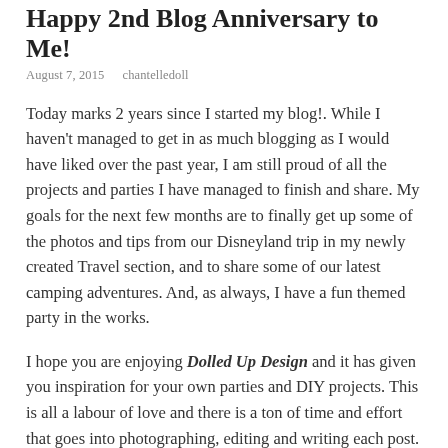Happy 2nd Blog Anniversary to Me!
August 7, 2015   chantelledoll
Today marks 2 years since I started my blog!.  While I haven't managed to get in as much blogging as I would have liked over the past year, I am still proud of all the projects and parties I have managed to finish and share.  My goals for the next few months are to finally get up some of the photos and tips from our Disneyland trip in my newly created Travel section, and to share some of our latest camping adventures.  And, as always, I have a fun themed party in the works.
I hope you are enjoying Dolled Up Design and it has given you inspiration for your own parties and DIY projects.  This is all a labour of love and there is a ton of time and effort that goes into photographing, editing and writing each post.  It means a lot when I get comments or see that I have a new follower